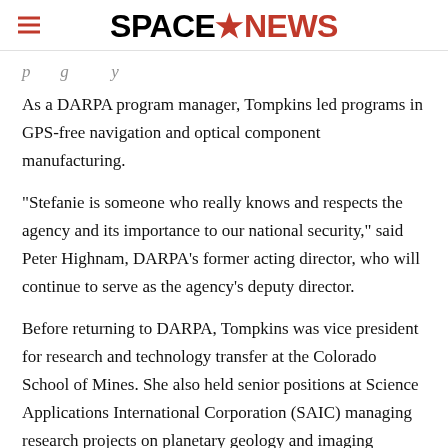SPACENEWS
p g y
As a DARPA program manager, Tompkins led programs in GPS-free navigation and optical component manufacturing.
“Stefanie is someone who really knows and respects the agency and its importance to our national security,” said Peter Highnam, DARPA’s former acting director, who will continue to serve as the agency’s deputy director.
Before returning to DARPA, Tompkins was vice president for research and technology transfer at the Colorado School of Mines. She also held senior positions at Science Applications International Corporation (SAIC) managing research projects on planetary geology and imaging spectroscopy.